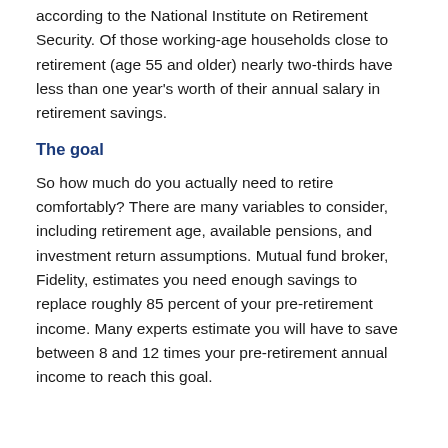according to the National Institute on Retirement Security. Of those working-age households close to retirement (age 55 and older) nearly two-thirds have less than one year's worth of their annual salary in retirement savings.
The goal
So how much do you actually need to retire comfortably? There are many variables to consider, including retirement age, available pensions, and investment return assumptions. Mutual fund broker, Fidelity, estimates you need enough savings to replace roughly 85 percent of your pre-retirement income. Many experts estimate you will have to save between 8 and 12 times your pre-retirement annual income to reach this goal.